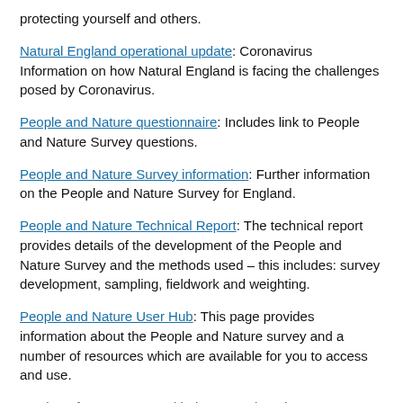protecting yourself and others.
Natural England operational update: Coronavirus Information on how Natural England is facing the challenges posed by Coronavirus.
People and Nature questionnaire: Includes link to People and Nature Survey questions.
People and Nature Survey information: Further information on the People and Nature Survey for England.
People and Nature Technical Report: The technical report provides details of the development of the People and Nature Survey and the methods used – this includes: survey development, sampling, fieldwork and weighting.
People and Nature User Hub: This page provides information about the People and Nature survey and a number of resources which are available for you to access and use.
Monitor of Engagement with the Natural Environment: Further information on the Monitor of Engagement with the Natural Environment (MENE) Survey (predecessor to the